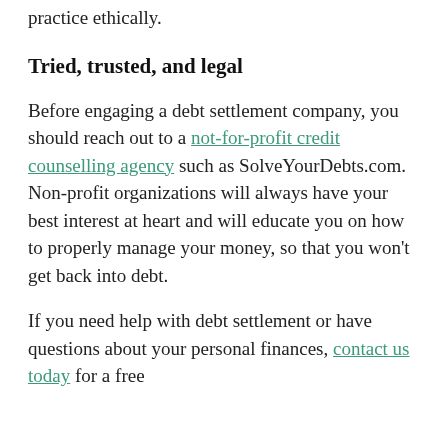practice ethically.
Tried, trusted, and legal
Before engaging a debt settlement company, you should reach out to a not-for-profit credit counselling agency such as SolveYourDebts.com. Non-profit organizations will always have your best interest at heart and will educate you on how to properly manage your money, so that you won't get back into debt.
If you need help with debt settlement or have questions about your personal finances, contact us today for a free